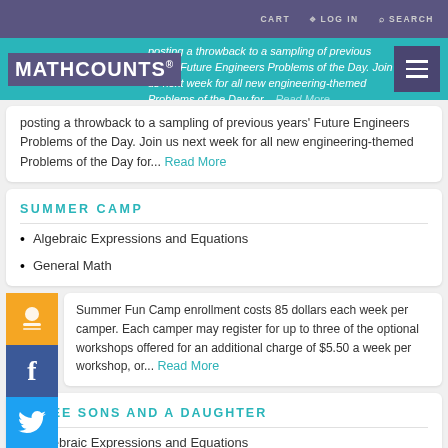CART  LOG IN  SEARCH
MATHCOUNTS® posting a throwback to a sampling of previous years' Future Engineers Problems of the Day. Join us next week for all new engineering-themed Problems of the Day for... Read More
posting a throwback to a sampling of previous years' Future Engineers Problems of the Day. Join us next week for all new engineering-themed Problems of the Day for...
SUMMER CAMP
Algebraic Expressions and Equations
General Math
Summer Fun Camp enrollment costs 85 dollars each week per camper. Each camper may register for up to three of the optional workshops offered for an additional charge of $5.50 a week per workshop, or... Read More
THREE SONS AND A DAUGHTER
Algebraic Expressions and Equations
Problem Solving (Misc.)